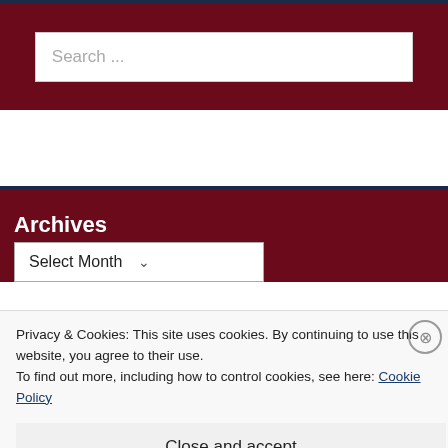[Figure (screenshot): Search bar with placeholder text 'Search ...' on dark red background]
Archives
[Figure (screenshot): Select Month dropdown on dark red background]
Privacy & Cookies: This site uses cookies. By continuing to use this website, you agree to their use.
To find out more, including how to control cookies, see here: Cookie Policy
Close and accept